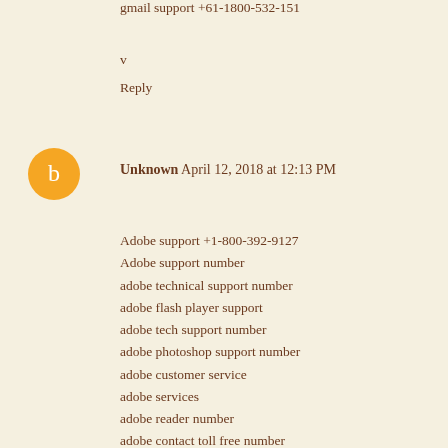gmail support +61-1800-532-151
v
Reply
Unknown  April 12, 2018 at 12:13 PM
Adobe support +1-800-392-9127
Adobe support number
adobe technical support number
adobe flash player support
adobe tech support number
adobe photoshop support number
adobe customer service
adobe services
adobe reader number
adobe contact toll free number